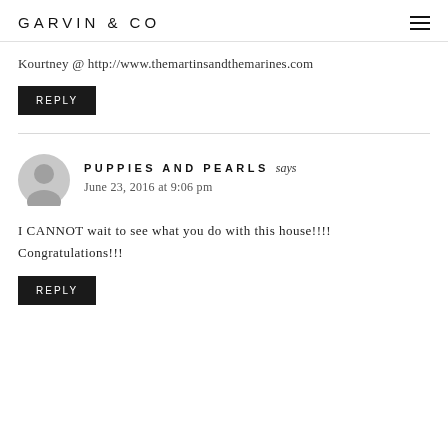GARVIN & CO
Kourtney @ http://www.themartinsandthemarines.com
REPLY
PUPPIES AND PEARLS says
June 23, 2016 at 9:06 pm
I CANNOT wait to see what you do with this house!!!! Congratulations!!!
REPLY